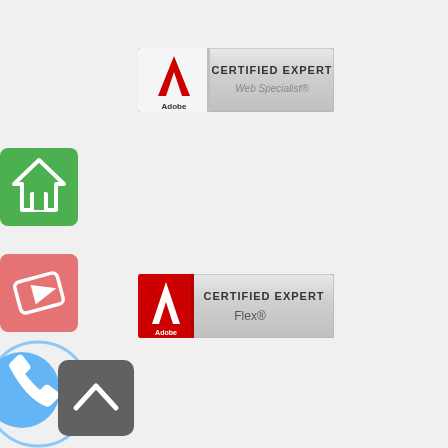[Figure (logo): Adobe Certified Expert Web Specialist badge with Adobe logo on left and text on right with silver gradient background]
[Figure (logo): Green square icon with white house/home symbol]
[Figure (logo): Pink/red square icon with white play button/video symbol]
[Figure (logo): Blue circle icon with white phone/call symbol]
[Figure (logo): Dark grey square button with white upward caret/arrow]
[Figure (logo): Adobe Certified Expert Flex badge with Adobe logo on left and text on right with silver gradient background]